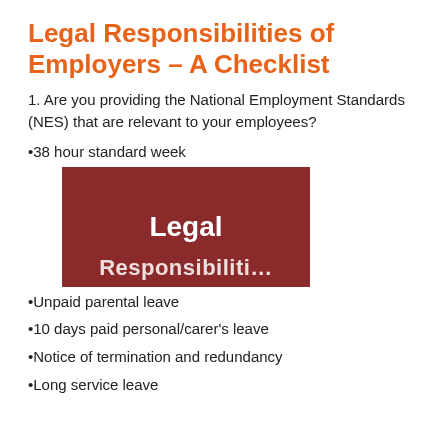Legal Responsibilities of Employers – A Checklist
1. Are you providing the National Employment Standards (NES) that are relevant to your employees?
38 hour standard week
[Figure (illustration): Dark red/brown overlay image block showing the text 'Legal Responsibiliti...' partially visible, representing the cover or a decorative image from the document.]
Unpaid parental leave
10 days paid personal/carer's leave
Notice of termination and redundancy
Long service leave